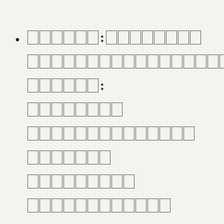[text rendered as boxes - non-latin script characters displayed as placeholder rectangles]